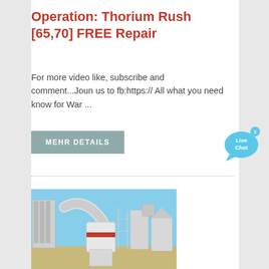Operation: Thorium Rush [65,70] FREE Repair
For more video like, subscribe and comment...Joun us to fb:https:// All what you need know for War ...
MEHR DETAILS
[Figure (other): Live Chat speech bubble icon with 'x' close button in blue/cyan color]
[Figure (photo): Industrial milling or grinding equipment facility with large white machinery, pipes, silos, and conveyor systems against a blue sky]